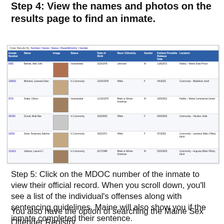Step 4: View the names and photos on the results page to find an inmate.
[Figure (screenshot): Screenshot of MDOC inmate search results page showing a table with columns: Inmate Number, Name, Image, Status, Date of Birth, Race/Ethnicity, Gender, Earliest Possible Release Date, Location. Rows include inmates such as Barbee, Matt John (Incarcerated, Facility - Maine State Prison), Bertrand, Lavanda Dawn (In Community, Community - Biddeford, Adult), Drake, Clinton (Incarcerated, Facility - Maine Correctional Center), Dorval, Alida Rae (In Community, Community - Houlton, Adult), Davis, Rosemary Sabrina (In Community, Community - Lewiston Main Office Adult), Jackson, Lamont C. (In Community, Community - Augusta Main Office Adult), Lewis, Karen Irene (Incarcerated, Facility - Maine Correctional Center), Mahoney, Michael Jarvis (In Community, Community - Portland Main Office).]
Step 5: Click on the MDOC number of the inmate to view their official record. When you scroll down, you'll see a list of the individual's offenses along with sentencing guidelines. Maine will also show you if the inmate completed their sentence.
You also have the option of searching the Maine Sex Offender Registry.